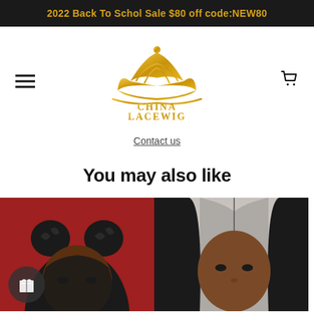2022 Back To Schol Sale $80 off code:NEW80
[Figure (logo): China Lacewig crown logo in gold with text CHINA LACEWIG below]
Contact us
You may also like
[Figure (photo): Product photo: woman with curly updo hairstyle on red background]
[Figure (photo): Product photo: woman with straight hair on light background]